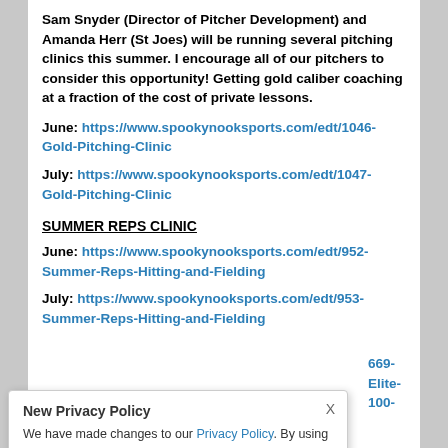Sam Snyder (Director of Pitcher Development) and Amanda Herr (St Joes) will be running several pitching clinics this summer.  I encourage all of our pitchers to consider this opportunity! Getting gold caliber coaching at a fraction of the cost of private lessons.
June: https://www.spookynooksports.com/edt/1046-Gold-Pitching-Clinic
July: https://www.spookynooksports.com/edt/1047-Gold-Pitching-Clinic
SUMMER REPS CLINIC
June: https://www.spookynooksports.com/edt/952-Summer-Reps-Hitting-and-Fielding
July: https://www.spookynooksports.com/edt/953-Summer-Reps-Hitting-and-Fielding
...669-Elite-100-...
New Privacy Policy - We have made changes to our Privacy Policy. By using this site you agree to the Privacy Policy and Terms of Service.